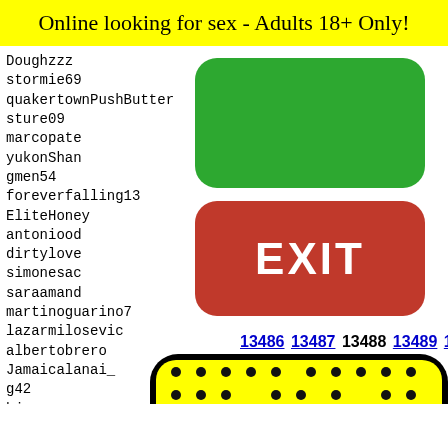Online looking for sex - Adults 18+ Only!
Doughzzz
stormie69
quakertownPushButter
sture09
marcopate
yukonShan
gmen54
foreverfalling13
EliteHoney
antoniood
dirtylove
simonesac
saraamand
martinoguarino7
lazarmilosevic
albertobrero
Jamaicalanai_
g42
bjaron
Talori
Pifer
biesse
marijj
btaylo
wicked
[Figure (other): Green rounded rectangle button (no label)]
[Figure (other): Red rounded rectangle EXIT button]
13486 13487 13488 13489 13490
[Figure (illustration): Yellow paddle/emoji-like image with black dot pattern and cartoon face at bottom, inside black rounded rectangle border]